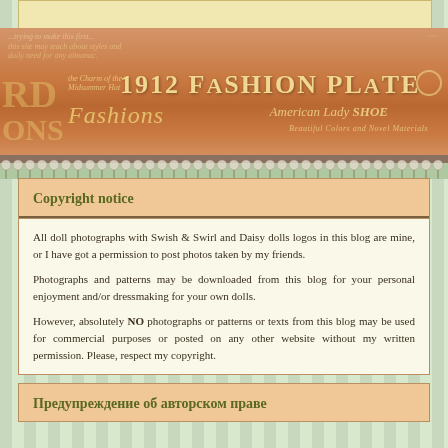[Figure (illustration): Vintage 1912 fashion plate decorative banner with ornate typography, warm orange/amber tones, lace border decoration]
Copyright notice
All doll photographs with Swish & Swirl and Daisy dolls logos in this blog are mine, or I have got a permission to post photos taken by my friends.
Photographs and patterns may be downloaded from this blog for your personal enjoyment and/or dressmaking for your own dolls.
However, absolutely NO photographs or patterns or texts from this blog may be used for commercial purposes or posted on any other website without my written permission. Please, respect my copyright.
Предупреждение об авторском праве